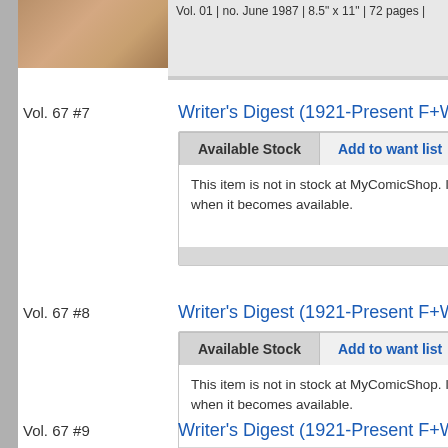[Figure (photo): Partial view of a magazine or book cover image showing papers/desk items, cropped at top-left]
Vol. 01 | no. June 1987 | 8.5" x 11" | 72 pages | ...
Vol. 67 #7
Writer's Digest (1921-Present F+W Pub...
Available Stock
Add to want list
This item is not in stock at MyComicShop. If yo... when it becomes available.
Vol. 67 #8
Writer's Digest (1921-Present F+W Pub...
Available Stock
Add to want list
This item is not in stock at MyComicShop. If yo... when it becomes available.
Vol. 67 #9
Writer's Digest (1921-Present F+W Pub...